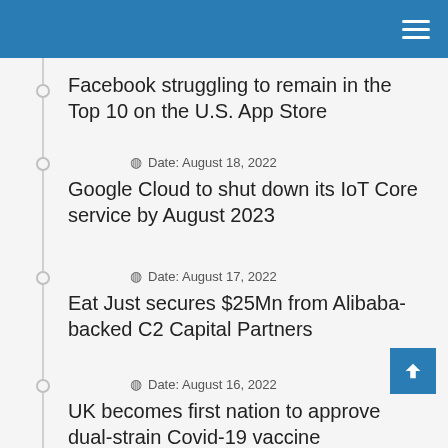Facebook struggling to remain in the Top 10 on the U.S. App Store
Date: August 18, 2022
Google Cloud to shut down its IoT Core service by August 2023
Date: August 17, 2022
Eat Just secures $25Mn from Alibaba-backed C2 Capital Partners
Date: August 16, 2022
UK becomes first nation to approve dual-strain Covid-19 vaccine
Date: August 12, 2022